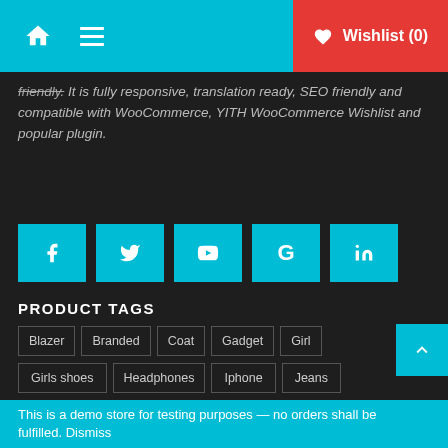Home | Menu | Wishlist (0)
friendly. It is fully responsive, translation ready, SEO friendly and compatible with WooCommerce, YITH WooCommerce Wishlist and popular plugin.
[Figure (infographic): Social media icon buttons: Facebook, Twitter, YouTube, Google, LinkedIn — all in cyan/teal color]
PRODUCT TAGS
Blazer
Branded
Coat
Gadget
Girl
Girls shoes
Headphones
Iphone
Jeans
Key Rings
Kids
Kids Shoes
Men
Mobile
This is a demo store for testing purposes — no orders shall be fulfilled. Dismiss